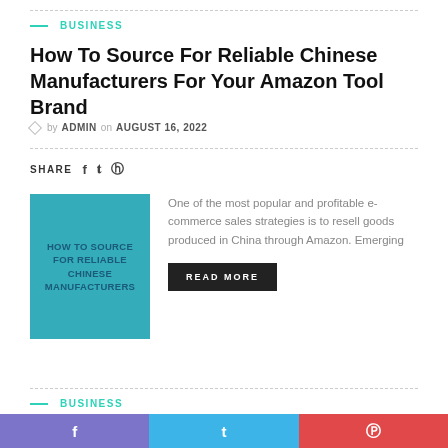BUSINESS
How To Source For Reliable Chinese Manufacturers For Your Amazon Tool Brand
by ADMIN on AUGUST 16, 2022
SHARE
[Figure (photo): Article thumbnail image with text: HOW TO SOURCE FOR RELIABLE CHINESE MANUFACTURERS on a teal/blue industrial background]
One of the most popular and profitable e-commerce sales strategies is to resell goods produced in China through Amazon. Emerging
READ MORE
BUSINESS
How To Overcome The Challenges Of WFOE Set Up In China